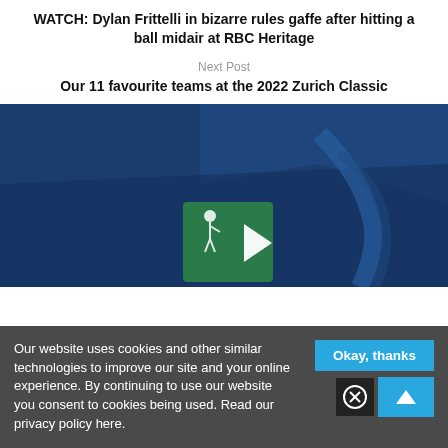WATCH: Dylan Frittelli in bizarre rules gaffe after hitting a ball midair at RBC Heritage
Next Post
Our 11 favourite teams at the 2022 Zurich Classic
[Figure (screenshot): Aerial blue-tinted video thumbnail of a golf course with a play button overlay and a golf figure logo]
Our website uses cookies and other similar technologies to improve our site and your online experience. By continuing to use our website you consent to cookies being used. Read our privacy policy here.